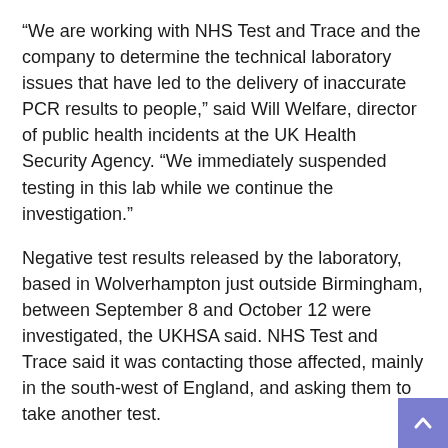“We are working with NHS Test and Trace and the company to determine the technical laboratory issues that have led to the delivery of inaccurate PCR results to people,” said Will Welfare, director of public health incidents at the UK Health Security Agency. “We immediately suspended testing in this lab while we continue the investigation.”
Negative test results released by the laboratory, based in Wolverhampton just outside Birmingham, between September 8 and October 12 were investigated, the UKHSA said. NHS Test and Trace said it was contacting those affected, mainly in the south-west of England, and asking them to take another test.
Immensa Health Clinic Ltd, the company behind the lab, was officially incorporated in May of last year, according to Companies House records. Immensa laboratories have processed over 2.5 million test samples for NHS Test and Trace.
The company has since received nearly Â£ 170million worth of